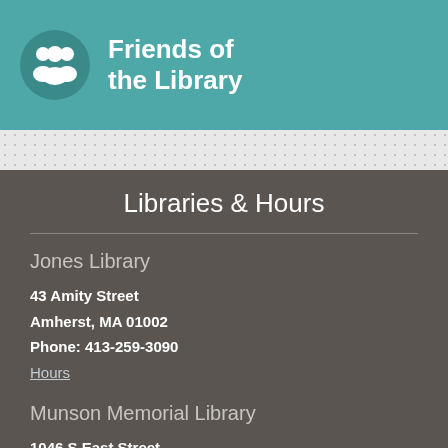Friends of the Library
Libraries & Hours
Jones Library
43 Amity Street
Amherst, MA 01002
Phone: 413-259-3090
Hours
Munson Memorial Library
1046 S East Street
Amherst, MA 01002